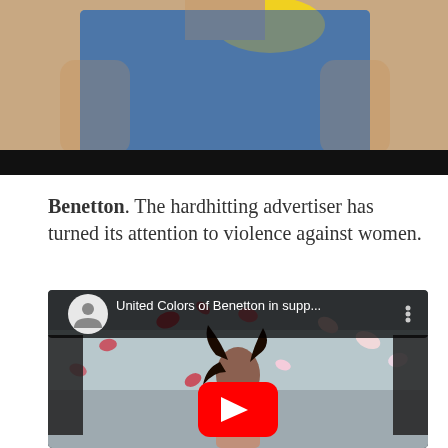[Figure (photo): Top portion of a person wearing a blue sleeveless shirt with a yellow graphic, cropped image with black bar at bottom]
Benetton. The hardhitting advertiser has turned its attention to violence against women.
[Figure (screenshot): YouTube video embed showing 'United Colors of Benetton in supp...' with a woman with dark hair surrounded by flying flower petals, with a red YouTube play button overlay]